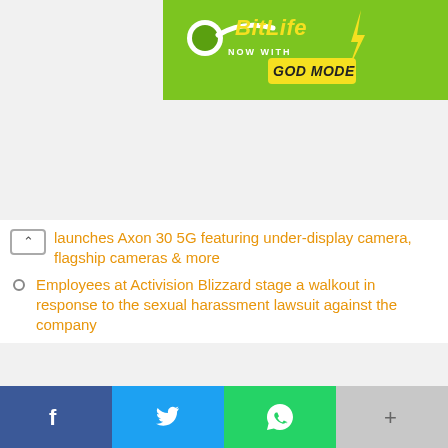[Figure (screenshot): BitLife app advertisement banner with 'NOW WITH GOD MODE' text on colorful background]
launches Axon 30 5G featuring under-display camera, flagship cameras & more
Employees at Activision Blizzard stage a walkout in response to the sexual harassment lawsuit against the company
Facebook
Twitter
WhatsApp
LinkedIn
Comments
0 comments